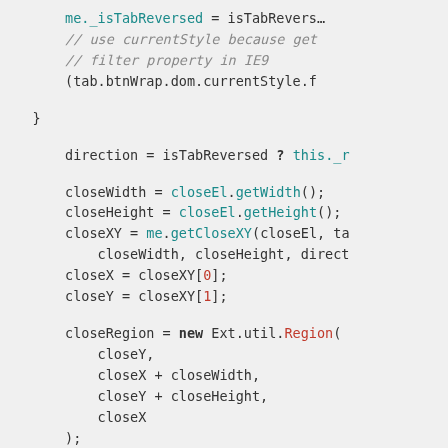[Figure (screenshot): Code snippet showing JavaScript with syntax highlighting. Variables like closeWidth, closeHeight, closeXY, closeX, closeY, closeRegion, and close are assigned using method calls on closeEl, me, and closeRegion objects. Keywords 'new' and 'break' are bold. Method names are teal/cyan colored. Array indices 0 and 1 are red. Comments are italic gray.]